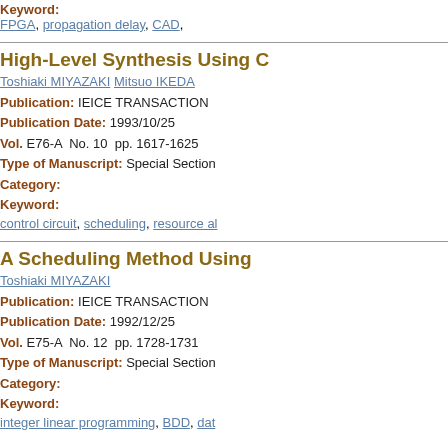Keyword:
FPGA, propagation delay, CAD,
High-Level Synthesis Using C
Toshiaki MIYAZAKI Mitsuo IKEDA
Publication:   IEICE TRANSACTION
Publication Date: 1993/10/25
Vol. E76-A  No. 10  pp. 1617-1625
Type of Manuscript:  Special Section
Category:
Keyword:
control circuit, scheduling, resource al
A Scheduling Method Using
Toshiaki MIYAZAKI
Publication:   IEICE TRANSACTION
Publication Date: 1992/12/25
Vol. E75-A  No. 12  pp. 1728-1731
Type of Manuscript:  Special Section
Category:
Keyword:
integer linear programming, BDD, dat